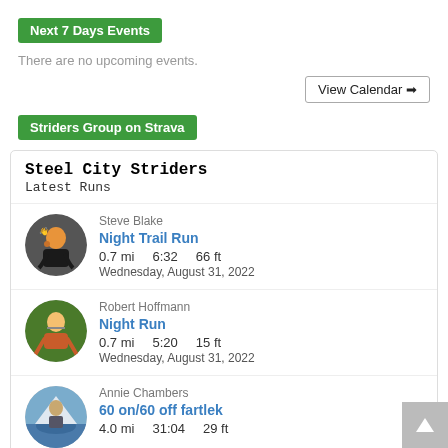Next 7 Days Events
There are no upcoming events.
View Calendar →
Striders Group on Strava
Steel City Striders
Latest Runs
Steve Blake
Night Trail Run
0.7 mi    6:32    66 ft
Wednesday, August 31, 2022
Robert Hoffmann
Night Run
0.7 mi    5:20    15 ft
Wednesday, August 31, 2022
Annie Chambers
60 on/60 off fartlek
4.0 mi    31:04    29 ft